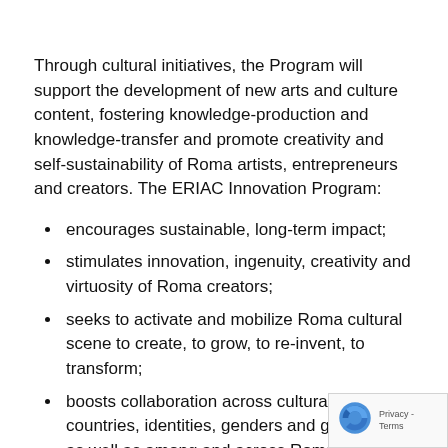Through cultural initiatives, the Program will support the development of new arts and culture content, fostering knowledge-production and knowledge-transfer and promote creativity and self-sustainability of Roma artists, entrepreneurs and creators. The ERIAC Innovation Program:
encourages sustainable, long-term impact;
stimulates innovation, ingenuity, creativity and virtuosity of Roma creators;
seeks to activate and mobilize Roma cultural scene to create, to grow, to re-invent, to transform;
boosts collaboration across cultural domains, countries, identities, genders and generations, as well as among and across Roma art and culture and community agents;
searches for multiplier effect, benefiting directly indirectly Roma families, communities and majority